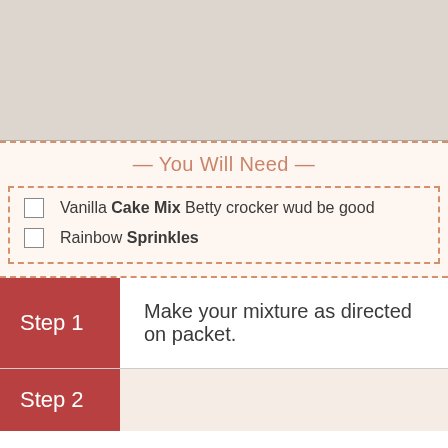[Figure (photo): Top banner image with beige/taupe background color filling the upper portion of the page]
You Will Need
Vanilla Cake Mix Betty crocker wud be good
Rainbow Sprinkles
Step 1
Make your mixture as directed on packet.
Step 2